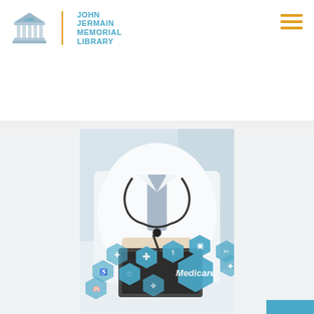[Figure (logo): John Jermain Memorial Library logo with building icon, vertical gold divider, and library name in blue]
appointed day. Signi...
READ MORE >
[Figure (photo): Doctor in white coat with stethoscope writing on clipboard, overlaid with blue hexagonal Medicare icons and 'Medicare' text]